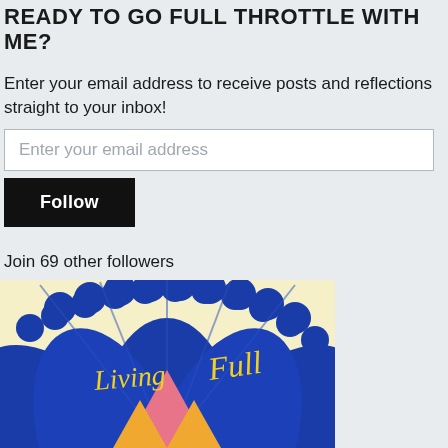READY TO GO FULL THROTTLE WITH ME?
Enter your email address to receive posts and reflections straight to your inbox!
Enter your email address
Follow
Join 69 other followers
Follow Living Full Throttle
[Figure (logo): Living Full Throttle blog logo with blue fan/peacock feather design and cursive text 'Living Full' on a light yellow background with pink and orange triangle shapes at the bottom]